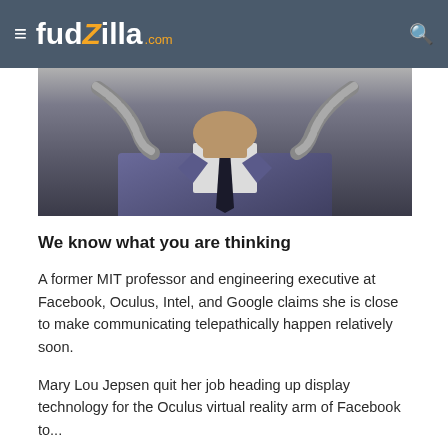fudzilla.com
[Figure (photo): A person in a suit with mechanical or robotic arms/tubes visible on either side of their head/neck, cropped from chin down, wearing a dark tie and blue/purple jacket]
We know what you are thinking
A former MIT professor and engineering executive at Facebook, Oculus, Intel, and Google claims she is close to make communicating telepathically happen relatively soon.
Mary Lou Jepsen quit her job heading up display technology for the Oculus virtual reality arm of Facebook to...